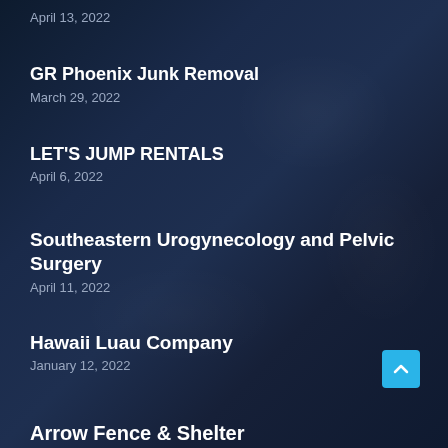April 13, 2022
GR Phoenix Junk Removal
March 29, 2022
LET'S JUMP RENTALS
April 6, 2022
Southeastern Urogynecology and Pelvic Surgery
April 11, 2022
Hawaii Luau Company
January 12, 2022
Arrow Fence & Shelter